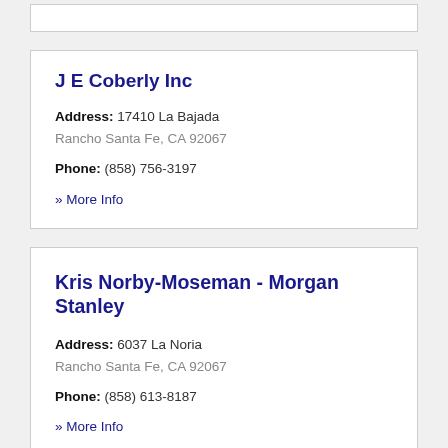J E Coberly Inc
Address: 17410 La Bajada
Rancho Santa Fe, CA 92067
Phone: (858) 756-3197
» More Info
Kris Norby-Moseman - Morgan Stanley
Address: 6037 La Noria
Rancho Santa Fe, CA 92067
Phone: (858) 613-8187
» More Info